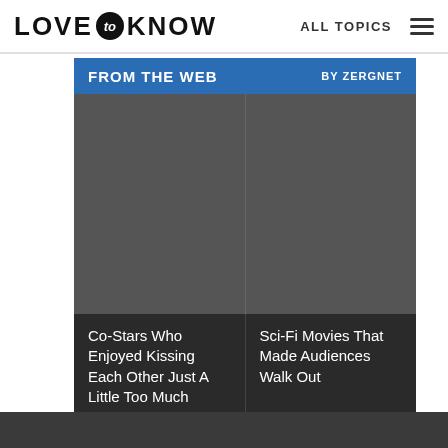LOVE to KNOW | ALL TOPICS
FROM THE WEB BY ZERGNET
[Figure (photo): Two gray placeholder image panels side by side]
Co-Stars Who Enjoyed Kissing Each Other Just A Little Too Much
Sci-Fi Movies That Made Audiences Walk Out